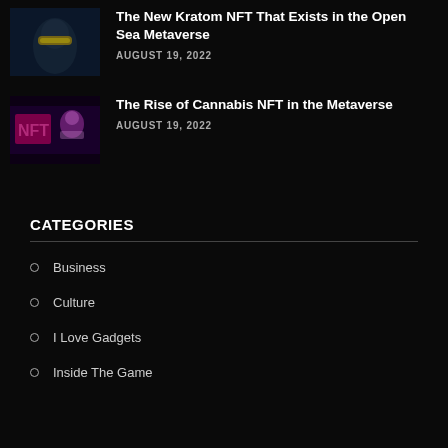[Figure (photo): Thumbnail image of a person with glowing yellow visor/glasses against a dark background]
The New Kratom NFT That Exists in the Open Sea Metaverse
AUGUST 19, 2022
[Figure (photo): Thumbnail image of a glowing pink NFT sign with abstract figures]
The Rise of Cannabis NFT in the Metaverse
AUGUST 19, 2022
CATEGORIES
Business
Culture
I Love Gadgets
Inside The Game